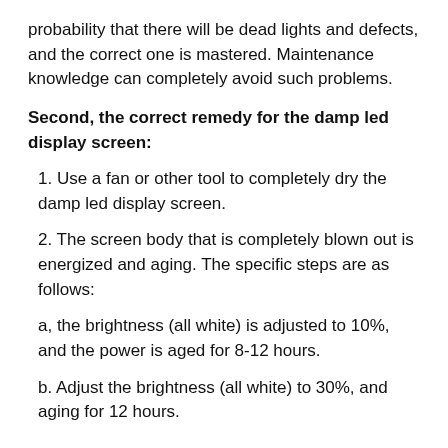probability that there will be dead lights and defects, and the correct one is mastered. Maintenance knowledge can completely avoid such problems.
Second, the correct remedy for the damp led display screen:
1. Use a fan or other tool to completely dry the damp led display screen.
2. The screen body that is completely blown out is energized and aging. The specific steps are as follows:
a, the brightness (all white) is adjusted to 10%, and the power is aged for 8-12 hours.
b. Adjust the brightness (all white) to 30%, and aging for 12 hours.